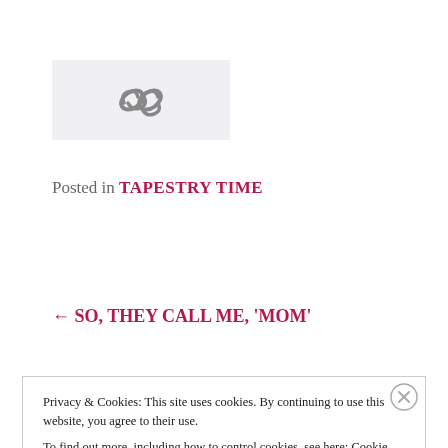[Figure (logo): Light gray/lavender box with a chain link icon (two interlocking ovals) in gray]
Posted in TAPESTRY TIME
← SO, THEY CALL ME, 'MOM'
Privacy & Cookies: This site uses cookies. By continuing to use this website, you agree to their use.
To find out more, including how to control cookies, see here: Cookie Policy
Close and accept